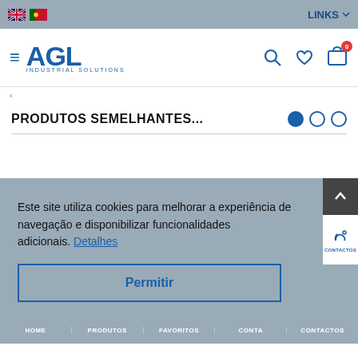LINKS
[Figure (logo): AGL Industrial Solutions logo with hamburger menu, search, wishlist, and cart icons (badge: 0)]
PRODUTOS SEMELHANTES...
Este site utiliza cookies para melhorar a experiência de navegação e disponibilizar funcionalidades adicionais. Detalhes
Permitir
HOME | PRODUTOS | FAVORITOS | CONTA | CONTACTOS